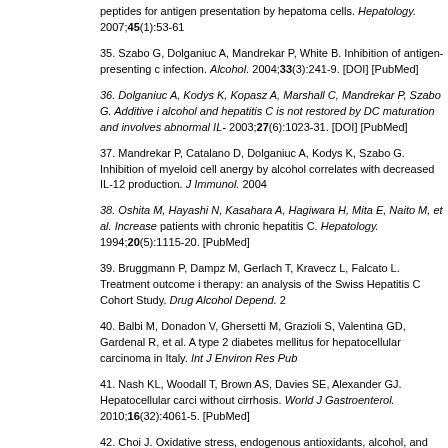peptides for antigen presentation by hepatoma cells. Hepatology. 2007;45(1):53-61
35. Szabo G, Dolganiuc A, Mandrekar P, White B. Inhibition of antigen-presenting c infection. Alcohol. 2004;33(3):241-9. [DOI] [PubMed]
36. Dolganiuc A, Kodys K, Kopasz A, Marshall C, Mandrekar P, Szabo G. Additive i alcohol and hepatitis C is not restored by DC maturation and involves abnormal IL- 2003;27(6):1023-31. [DOI] [PubMed]
37. Mandrekar P, Catalano D, Dolganiuc A, Kodys K, Szabo G. Inhibition of myeloid cell anergy by alcohol correlates with decreased IL-12 production. J Immunol. 2004
38. Oshita M, Hayashi N, Kasahara A, Hagiwara H, Mita E, Naito M, et al. Increase patients with chronic hepatitis C. Hepatology. 1994;20(5):1115-20. [PubMed]
39. Bruggmann P, Dampz M, Gerlach T, Kravecz L, Falcato L. Treatment outcome i therapy: an analysis of the Swiss Hepatitis C Cohort Study. Drug Alcohol Depend. 2
40. Balbi M, Donadon V, Ghersetti M, Grazioli S, Valentina GD, Gardenal R, et al. A type 2 diabetes mellitus for hepatocellular carcinoma in Italy. Int J Environ Res Pub
41. Nash KL, Woodall T, Brown AS, Davies SE, Alexander GJ. Hepatocellular carci without cirrhosis. World J Gastroenterol. 2010;16(32):4061-5. [PubMed]
42. Choi J. Oxidative stress, endogenous antioxidants, alcohol, and hepatitis C: pat Free Radic Biol Med. 2012;52(7):1135-50. [DOI] [PubMed]
43. Mas VR, Fassnacht R, Archer KJ, Maluf D. Molecular mechanisms involved in t liver cirrhosis. Mol Med. 2010;16(7-8):287-97. [DOI] [PubMed]
44. Siu L, Foont J, Wands JR. Hepatitis C virus and alcohol. Semin Liver Dis. 2009;
45. Sherman KE, Rouster SD, Mendenhall C, Thee D. Hepatitis cRNA quasispecies Hepatology. 1999;30(1):265-70. [DOI] [PubMed]